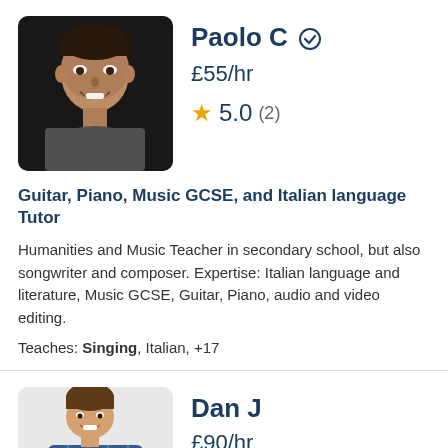[Figure (photo): Headshot of Paolo C, a smiling man against a dark background]
Paolo C ✓
£55/hr
★ 5.0 (2)
Guitar, Piano, Music GCSE, and Italian language Tutor
Humanities and Music Teacher in secondary school, but also songwriter and composer. Expertise: Italian language and literature, Music GCSE, Guitar, Piano, audio and video editing.
Teaches: Singing, Italian, +17
[Figure (photo): Photo of Dan J, a smiling man holding a guitar, wearing a plaid shirt]
Dan J
£90/hr